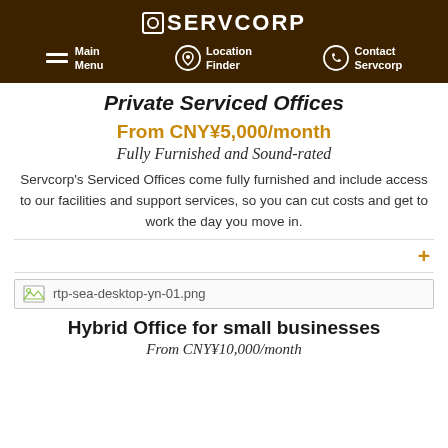SERVCORP — Main Menu | Location Finder | Contact Servcorp
Private Serviced Offices
From CNY¥5,000/month
Fully Furnished and Sound-rated
Servcorp's Serviced Offices come fully furnished and include access to our facilities and support services, so you can cut costs and get to work the day you move in.
[Figure (photo): Broken image placeholder: rtp-sea-desktop-yn-01.png]
Hybrid Office for small businesses
From CNY¥10,000/month